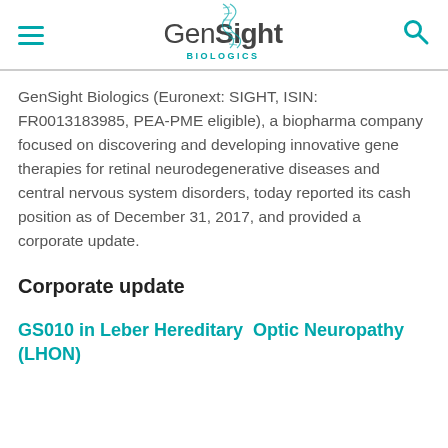GenSight Biologics
GenSight Biologics (Euronext: SIGHT, ISIN: FR0013183985, PEA-PME eligible), a biopharma company focused on discovering and developing innovative gene therapies for retinal neurodegenerative diseases and central nervous system disorders, today reported its cash position as of December 31, 2017, and provided a corporate update.
Corporate update
GS010 in Leber Hereditary Optic Neuropathy (LHON)